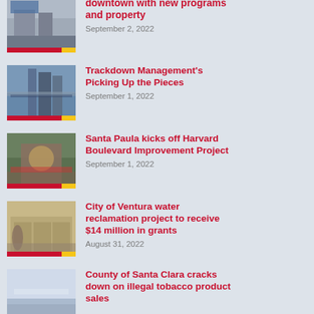[Figure (photo): Street scene in downtown area]
downtown with new programs and property
September 2, 2022
[Figure (photo): City skyline with bridge]
Trackdown Management's Picking Up the Pieces
September 1, 2022
[Figure (photo): Santa Paula sign with flowers]
Santa Paula kicks off Harvard Boulevard Improvement Project
September 1, 2022
[Figure (photo): Building facade with statue]
City of Ventura water reclamation project to receive $14 million in grants
August 31, 2022
[Figure (photo): Snowy aerial landscape]
County of Santa Clara cracks down on illegal tobacco product sales